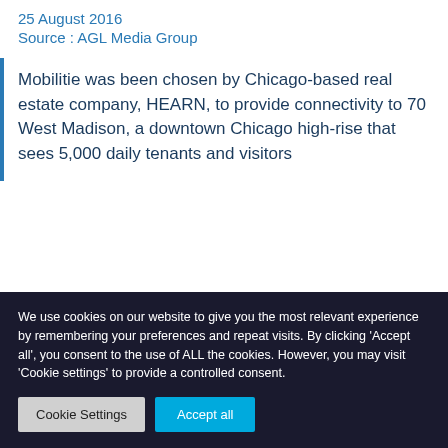25 August 2016
Source : AGL Media Group
Mobilitie was been chosen by Chicago-based real estate company, HEARN, to provide connectivity to 70 West Madison, a downtown Chicago high-rise that sees 5,000 daily tenants and visitors
We use cookies on our website to give you the most relevant experience by remembering your preferences and repeat visits. By clicking 'Accept all', you consent to the use of ALL the cookies. However, you may visit 'Cookie settings' to provide a controlled consent.
Cookie Settings | Accept all